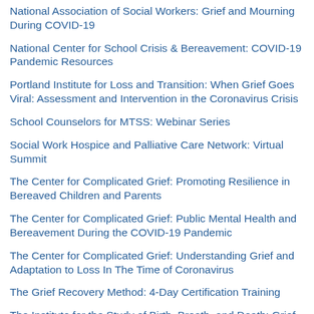National Association of Social Workers: Grief and Mourning During COVID-19
National Center for School Crisis & Bereavement: COVID-19 Pandemic Resources
Portland Institute for Loss and Transition: When Grief Goes Viral: Assessment and Intervention in the Coronavirus Crisis
School Counselors for MTSS: Webinar Series
Social Work Hospice and Palliative Care Network: Virtual Summit
The Center for Complicated Grief: Promoting Resilience in Bereaved Children and Parents
The Center for Complicated Grief: Public Mental Health and Bereavement During the COVID-19 Pandemic
The Center for Complicated Grief: Understanding Grief and Adaptation to Loss In The Time of Coronavirus
The Grief Recovery Method: 4-Day Certification Training
The Institute for the Study of Birth, Breath, and Death: Grief Work for Healthcare Providers